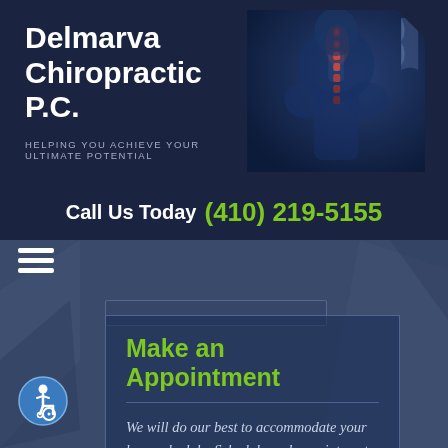[Figure (logo): Delmarva Chiropractic P.C. logo with white text on dark navy background, spine X-ray image on right side showing highlighted vertebrae in red/orange]
Call Us Today (410) 219-5155
[Figure (infographic): Hamburger menu icon (three white horizontal lines)]
Make an Appointment
We will do our best to accommodate your busy schedule. Schedule and appointment today!
[Figure (illustration): Accessibility wheelchair icon in a blue circle]